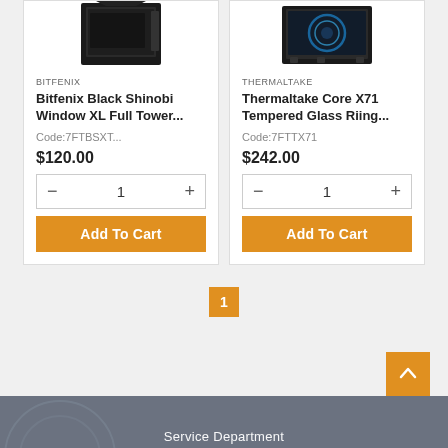[Figure (photo): Bitfenix Black Shinobi Window XL Full Tower PC case product image (top portion visible)]
BITFENIX
Bitfenix Black Shinobi Window XL Full Tower...
Code:7FTBSXT...
$120.00
[Figure (photo): Thermaltake Core X71 Tempered Glass Riing product image (top portion visible)]
THERMALTAKE
Thermaltake Core X71 Tempered Glass Riing...
Code:7FTTX71
$242.00
1
Add To Cart
1
Add To Cart
1
Service Department